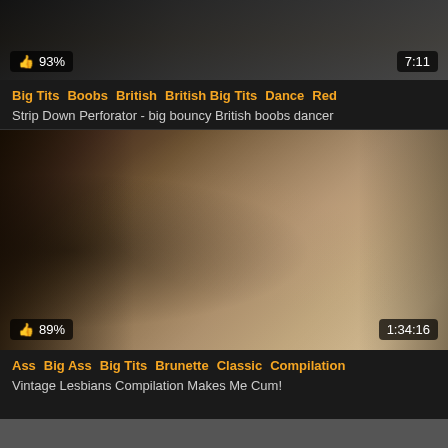[Figure (photo): Partial top of a video thumbnail showing dark toned image]
👍 93%   7:11
Big Tits  Boobs  British  British Big Tits  Dance  Red
Strip Down Perforator - big bouncy British boobs dancer
[Figure (photo): Video thumbnail showing vintage group scene]
👍 89%   1:34:16
Ass  Big Ass  Big Tits  Brunette  Classic  Compilation
Vintage Lesbians Compilation Makes Me Cum!